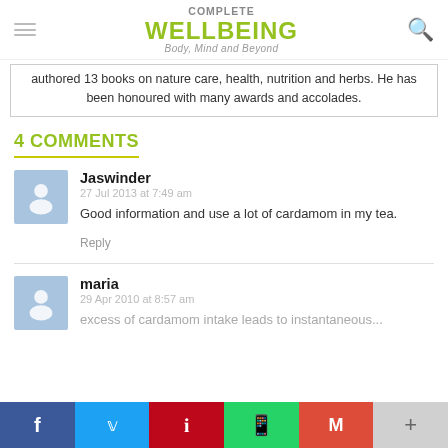COMPLETE WELLBEING Body, Mind and Beyond
authored 13 books on nature care, health, nutrition and herbs. He has been honoured with many awards and accolades.
4 COMMENTS
Jaswinder
27 Jul 2013 at 7:49 am
Good information and use a lot of cardamom in my tea.
Reply
maria
29 Apr 2010 at 8:57 am
excess of cardamom intake leads to instantaneous...